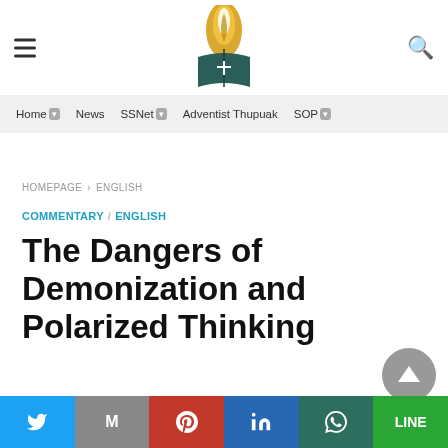Adventist website header with hamburger menu, logo, and search icon
Home | News | SSNet | Adventist Thupuak | SOP
HOMEPAGE › ENGLISH
COMMENTARY / ENGLISH
The Dangers of Demonization and Polarized Thinking